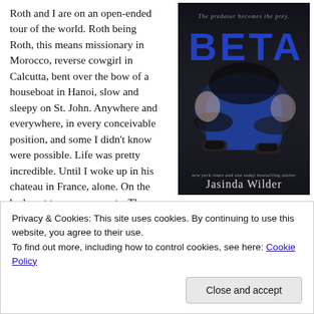Roth and I are on an open-ended tour of the world. Roth being Roth, this means missionary in Morocco, reverse cowgirl in Calcutta, bent over the bow of a houseboat in Hanoi, slow and sleepy on St. John. Anywhere and everywhere, in every conceivable position, and some I didn't know were possible. Life was pretty incredible. Until I woke up in his chateau in France, alone. On the bed next to me was a note. There
[Figure (illustration): Book cover of 'BETA' by Jasinda Wilder. Dark moody cover featuring a woman in a blue dress with bound wrists. Title 'BETA' in large blue letters at top. Tagline 'The predator becomes the prey.' Author name 'Jasinda Wilder' at bottom with 'New York Times and USA Today bestselling author'.]
Privacy & Cookies: This site uses cookies. By continuing to use this website, you agree to their use.
To find out more, including how to control cookies, see here: Cookie Policy
Close and accept